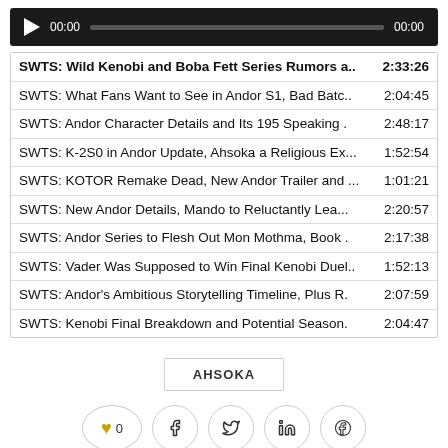[Figure (other): Audio player bar with play button, current time 00:00, progress bar, and total time 00:00]
SWTS: Wild Kenobi and Boba Fett Series Rumors a.. 2:33:26
SWTS: What Fans Want to See in Andor S1, Bad Batc.. 2:04:45
SWTS: Andor Character Details and Its 195 Speaking . 2:48:17
SWTS: K-2S0 in Andor Update, Ahsoka a Religious Ex... 1:52:54
SWTS: KOTOR Remake Dead, New Andor Trailer and ... 1:01:21
SWTS: New Andor Details, Mando to Reluctantly Lea... 2:20:57
SWTS: Andor Series to Flesh Out Mon Mothma, Book . 2:17:38
SWTS: Vader Was Supposed to Win Final Kenobi Duel.. 1:52:13
SWTS: Andor's Ambitious Storytelling Timeline, Plus R. 2:07:59
SWTS: Kenobi Final Breakdown and Potential Season. 2:04:47
AHSOKA
[Figure (other): Social sharing buttons: heart with count 0, Facebook, Twitter, LinkedIn, Pinterest]